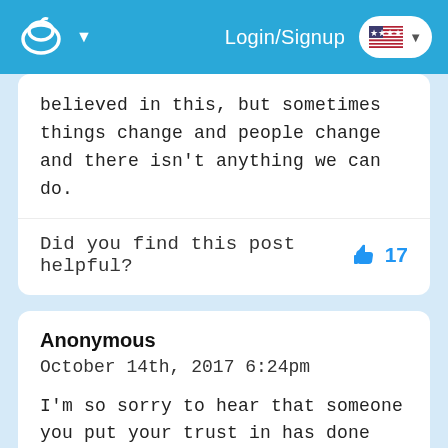Login/Signup
believed in this, but sometimes things change and people change and there isn't anything we can do.
Did you find this post helpful?  👍 17
Anonymous
October 14th, 2017 6:24pm
I'm so sorry to hear that someone you put your trust in has done that to you. It's hard to rationalise someone's motives when this happens to you so go easy on yourself and remember, the issue is his and not yours at this stage. When this happened to me I